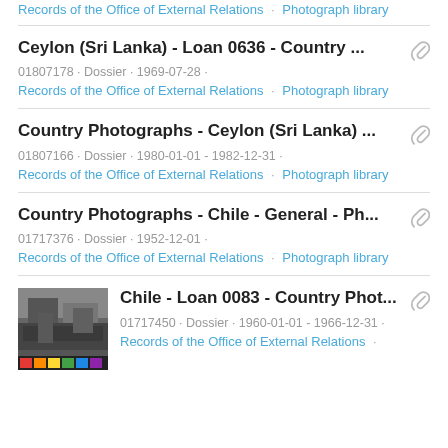Records of the Office of External Relations · Photograph library
Ceylon (Sri Lanka) - Loan 0636 - Country ...
01807178 · Dossier · 1969-07-28 ·
Records of the Office of External Relations · Photograph library
Country Photographs - Ceylon (Sri Lanka) ...
01807166 · Dossier · 1980-01-01 - 1982-12-31 ·
Records of the Office of External Relations · Photograph library
Country Photographs - Chile - General - Ph...
01717376 · Dossier · 1952-12-01 ·
Records of the Office of External Relations · Photograph library
Chile - Loan 0083 - Country Phot...
01717450 · Dossier · 1960-01-01 - 1966-12-31 ·
Records of the Office of External Relations ·